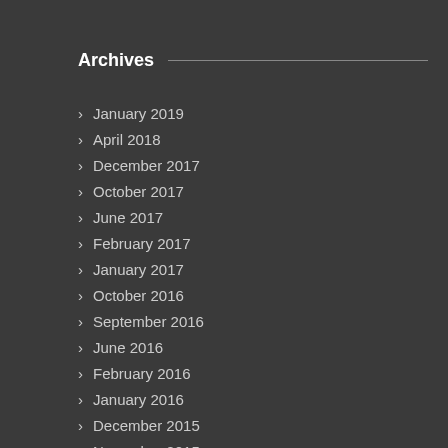Archives
January 2019
April 2018
December 2017
October 2017
June 2017
February 2017
January 2017
October 2016
September 2016
June 2016
February 2016
January 2016
December 2015
November 2015
October 2015
September 2015